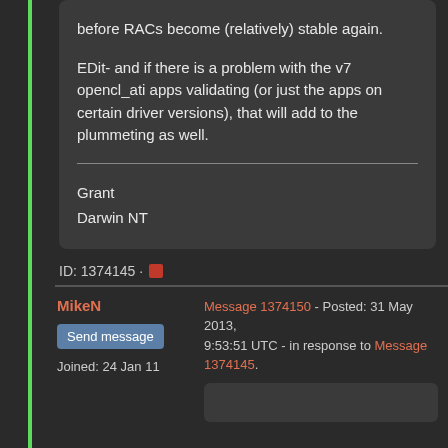before RACs become (relatively) stable again.
EDit- and if there is a problem with the v7 opencl_ati apps validating (or just the apps on certain driver versions), that will add to the plummeting as well.
Grant
Darwin NT
ID: 1374145 ·
MikeN
Send message
Joined: 24 Jan 11
Message 1374150 - Posted: 31 May 2013, 9:53:51 UTC - in response to Message 1374145.